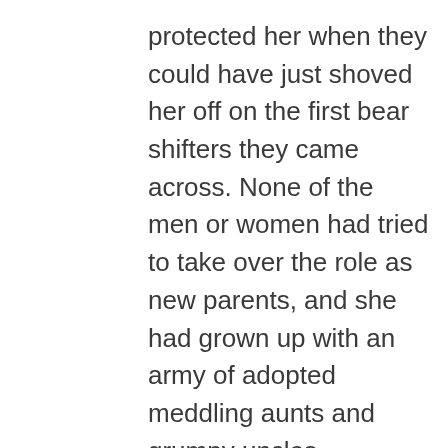protected her when they could have just shoved her off on the first bear shifters they came across. None of the men or women had tried to take over the role as new parents, and she had grown up with an army of adopted meddling aunts and grumpy uncles. Somewhere over the years, though, they had stopped looking at her as a bear, and more as a family member, which was sometimes a problematic situation.

For example, all young Vasiliev